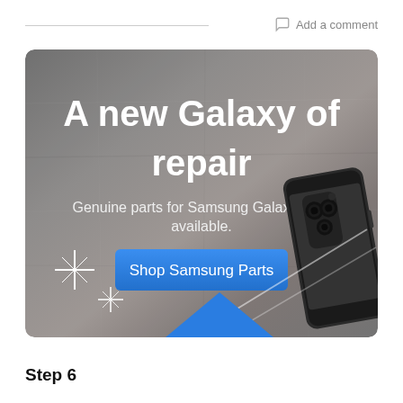Add a comment
[Figure (screenshot): Samsung advertisement banner with grey concrete texture background. Large white bold text reads 'A new Galaxy of repair'. Below it, lighter text reads 'Genuine parts for Samsung Galaxy, now available.' A blue button labeled 'Shop Samsung Parts' is centered. Bottom right shows a partial Samsung Galaxy phone. Bottom left has white sparkle star decorations and a blue accent shape at the bottom.]
Step 6